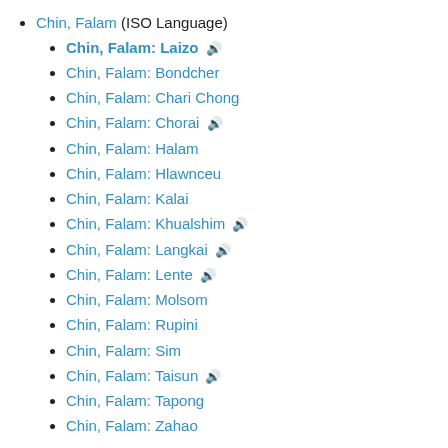Chin, Falam (ISO Language)
Chin, Falam: Laizo 🔊
Chin, Falam: Bondcher
Chin, Falam: Chari Chong
Chin, Falam: Chorai 🔊
Chin, Falam: Halam
Chin, Falam: Hlawnceu
Chin, Falam: Kalai
Chin, Falam: Khualshim 🔊
Chin, Falam: Langkai 🔊
Chin, Falam: Lente 🔊
Chin, Falam: Molsom
Chin, Falam: Rupini
Chin, Falam: Sim
Chin, Falam: Taisun 🔊
Chin, Falam: Tapong
Chin, Falam: Zahao